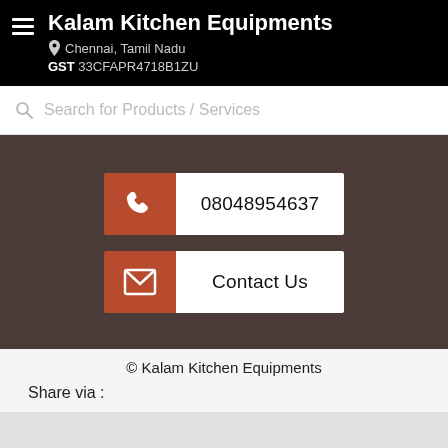Kalam Kitchen Equipments
Chennai, Tamil Nadu
GST 33CFAPR4718B1ZU
Search for Products / Services
[Figure (screenshot): Dark brownish section with two contact buttons: a phone button showing 08048954637 and an email/contact us button]
© Kalam Kitchen Equipments
Share via :